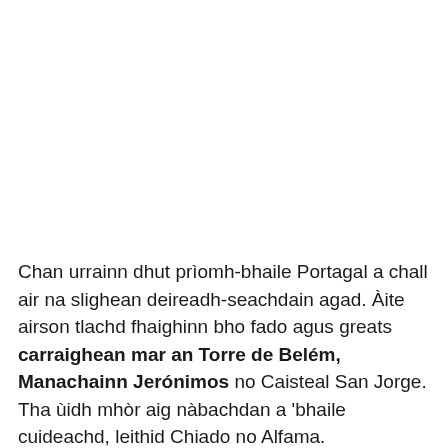Chan urrainn dhut prìomh-bhaile Portagal a chall air na slighean deireadh-seachdain agad. Àite airson tlachd fhaighinn bho fado agus greats carraighean mar an Torre de Belém, Manachainn Jerónimos no Caisteal San Jorge. Tha ùidh mhòr aig nàbachdan a 'bhaile cuideachd, leithid Chiado no Alfama.